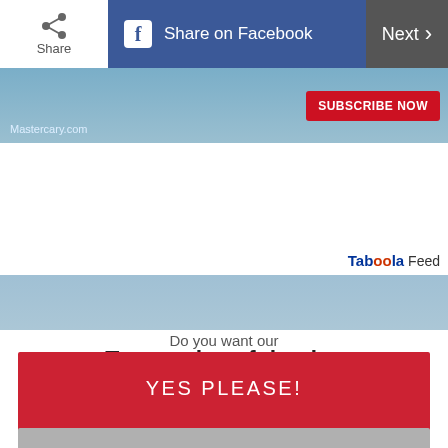[Figure (screenshot): Mobile browser toolbar with Share button (white), Share on Facebook button (blue with Facebook icon), and Next button with chevron (dark grey)]
[Figure (screenshot): Subscribe Now advertisement banner with partial image and red SUBSCRIBE NOW button]
[Figure (screenshot): Taboola Feed label in top right corner]
[Figure (photo): Partial outdoor photo showing a blue sky and some objects at the bottom right]
Do you want our
Top stories of the day delivered to your inbox?
YES PLEASE!
NO THANKS